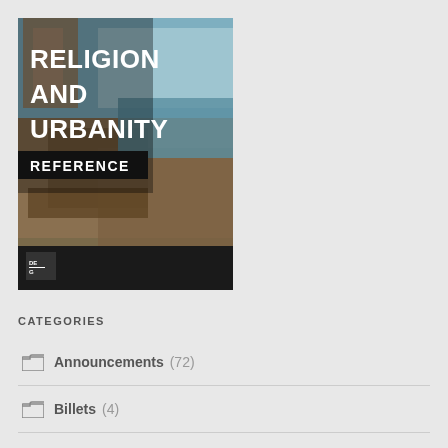[Figure (illustration): Book cover for 'Religion and Urbanity Reference' showing a classical painting of a city/tower scene with text overlaid in white bold font on a dark background, published by De Gruyter (G logo at bottom left)]
CATEGORIES
Announcements (72)
Billets (4)